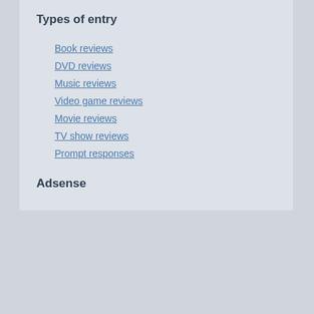Types of entry
Book reviews
DVD reviews
Music reviews
Video game reviews
Movie reviews
TV show reviews
Prompt responses
Adsense